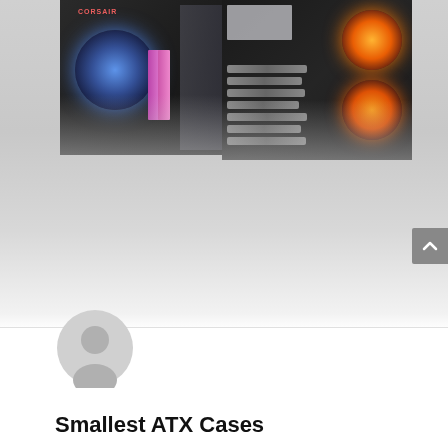[Figure (photo): Two PC cases shown side by side at the top of the page. Left case shows a dark ATX tower with blue fan glow and pink RAM. Right case shows a dark ATX tower with orange/red glowing fans and visible cable management. Images fade into a light gray gradient background below.]
[Figure (photo): Generic user avatar (person silhouette in a gray circle) displayed below the main images.]
Smallest ATX Cases